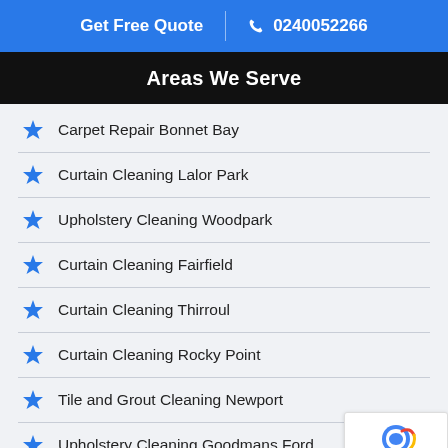Get Free Quote | 0240052266
Areas We Serve
Carpet Repair Bonnet Bay
Curtain Cleaning Lalor Park
Upholstery Cleaning Woodpark
Curtain Cleaning Fairfield
Curtain Cleaning Thirroul
Curtain Cleaning Rocky Point
Tile and Grout Cleaning Newport
Upholstery Cleaning Goodmans Ford